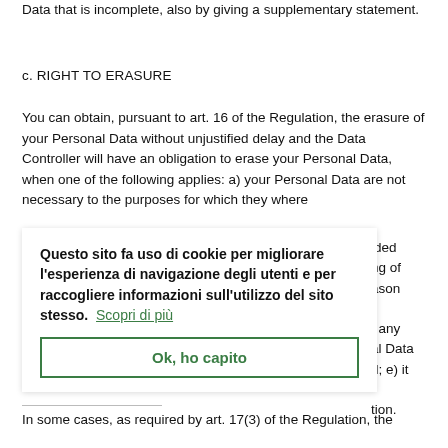Data that is incomplete, also by giving a supplementary statement.
c. RIGHT TO ERASURE
You can obtain, pursuant to art. 16 of the Regulation, the erasure of your Personal Data without unjustified delay and the Data Controller will have an obligation to erase your Personal Data, when one of the following applies: a) your Personal Data are not necessary to the purposes for which they where
[Figure (screenshot): Cookie consent overlay in Italian reading: 'Questo sito fa uso di cookie per migliorare l’esperienza di navigazione degli utenti e per raccogliere informazioni sull’utilizzo del sito stesso. Scopri di più' with a green-bordered button 'Ok, ho capito']
ded
ng of
ason
t any
al Data
d; e) it

tion.
In some cases, as required by art. 17(3) of the Regulation, the